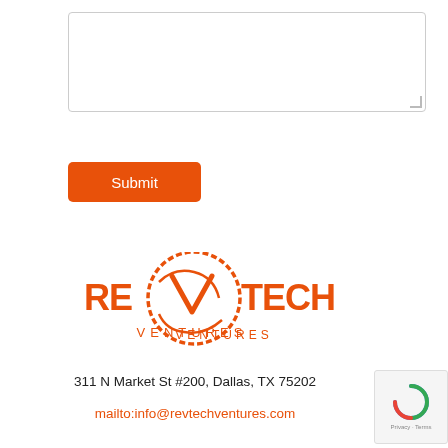[Figure (screenshot): Empty textarea input box with rounded corners and resize handle]
[Figure (screenshot): Orange Submit button]
[Figure (logo): RevTech Ventures logo in orange with stylized V emblem and circular swoosh]
311 N Market St #200, Dallas, TX 75202
mailto:info@revtechventures.com
[Figure (other): reCAPTCHA widget showing Google reCAPTCHA icon with Privacy - Terms text]